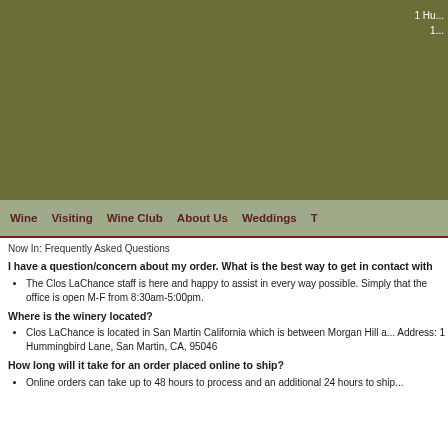[Figure (other): Olive/army green header background with white text showing address: 1 Hummingbird Lane and a second line partially visible]
1 Hu...
1...
Wine   Visiting   Wine Club   About Us   Weddings   T...
Now In: Frequently Asked Questions
I have a question/concern about my order. What is the best way to get in contact with
The Clos LaChance staff is here and happy to assist in every way possible. Simply that the office is open M-F from 8:30am-5:00pm.
Where is the winery located?
Clos LaChance is located in San Martin California which is between Morgan Hill a... Address: 1 Hummingbird Lane, San Martin, CA, 95046
How long will it take for an order placed online to ship?
Online orders can take up to 48 hours to process and an additional 24 hours to ship...